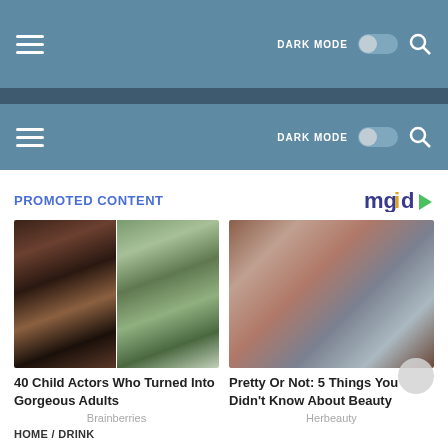DARK MODE [toggle] [search]
DARK MODE [toggle] [search]
PROMOTED CONTENT
[Figure (logo): mgid logo with play icon]
[Figure (photo): Two child actors - a teenage girl with red hair and a young smiling girl]
40 Child Actors Who Turned Into Gorgeous Adults
Brainberries
[Figure (photo): A plus-size woman with red hair in a silver dress]
Pretty Or Not: 5 Things You Didn't Know About Beauty
Herbeauty
HOME / DRINK